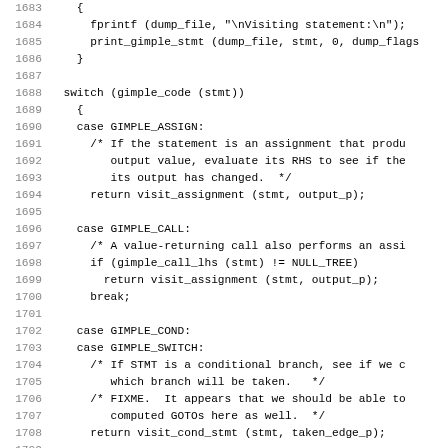[Figure (screenshot): Source code listing in monospace font showing lines 1683-1714 of a C program, featuring a switch statement on gimple_code(stmt) with cases for GIMPLE_ASSIGN, GIMPLE_CALL, GIMPLE_COND, GIMPLE_SWITCH, and default.]